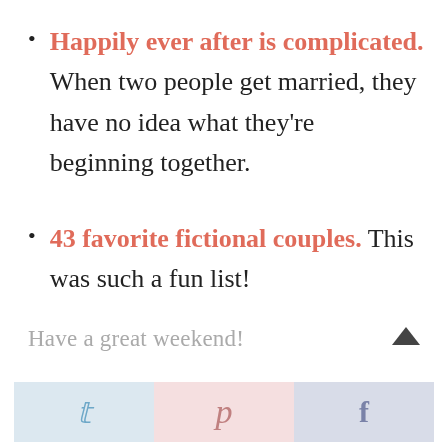Happily ever after is complicated. When two people get married, they have no idea what they're beginning together.
43 favorite fictional couples. This was such a fun list!
Have a great weekend!
Social share buttons: Twitter, Pinterest, Facebook